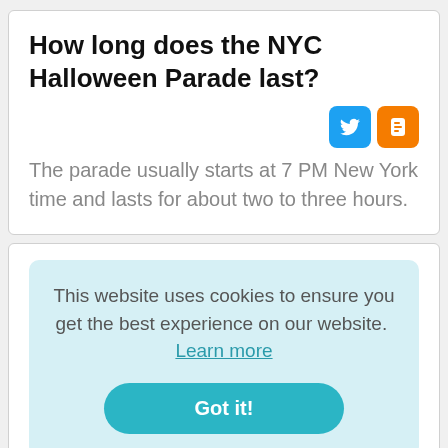How long does the NYC Halloween Parade last?
The parade usually starts at 7 PM New York time and lasts for about two to three hours.
This website uses cookies to ensure you get the best experience on our website. Learn more
Got it!
6:30 p.m., but the front gates typically open